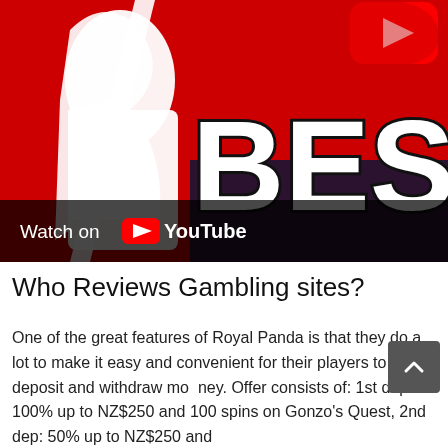[Figure (screenshot): YouTube video thumbnail showing the word BEST in large white bold text on a red background, with a person in a white shirt visible on the left side. A YouTube play button icon is visible in the top right. A 'Watch on YouTube' bar appears at the bottom of the thumbnail.]
Who Reviews Gambling sites?
One of the great features of Royal Panda is that they do a lot to make it easy and convenient for their players to deposit and withdraw money. Offer consists of: 1st dep: 100% up to NZ$250 and 100 spins on Gonzo's Quest, 2nd dep: 50% up to NZ$250 and